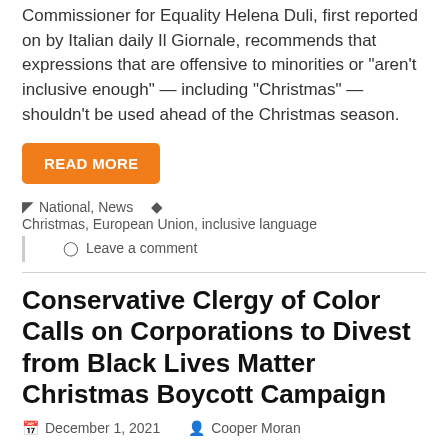Commissioner for Equality Helena Duli, first reported on by Italian daily Il Giornale, recommends that expressions that are offensive to minorities or “aren’t inclusive enough” — including “Christmas” — shouldn’t be used ahead of the Christmas season.
READ MORE
⊞ National, News ★ Christmas, European Union, inclusive language
○ Leave a comment
Conservative Clergy of Color Calls on Corporations to Divest from Black Lives Matter Christmas Boycott Campaign
December 1, 2021   Cooper Moran
[Figure (photo): Photo of a man in a suit with a banner in the background]
Conservative Clergy of Color, a non-partisan civil rights advocacy group, called on corporations to stop funding the Black Lives Matter organization, due to the group’s call for a boycott.